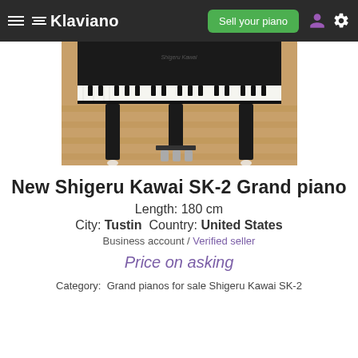Klaviano — Sell your piano
[Figure (photo): Photo of a Shigeru Kawai SK-2 grand piano showing the keyboard and pedals with legs on a wooden floor]
New Shigeru Kawai SK-2 Grand piano
Length: 180 cm
City: Tustin  Country: United States
Business account / Verified seller
Price on asking
Category:  Grand pianos for sale Shigeru Kawai SK-2